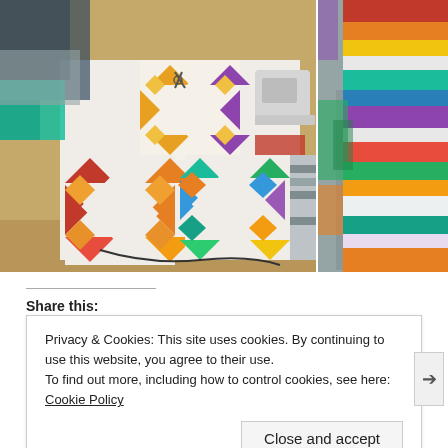[Figure (photo): Two-panel photo: left panel shows quilting blocks with star/diamond patterns in red, orange, yellow, teal, blue on white fabric on a table with scissors and sewing machine; right panel shows a colorful striped quilt with horizontal bands of red, orange, teal, green, purple, lavender on a gray background.]
Share this:
Privacy & Cookies: This site uses cookies. By continuing to use this website, you agree to their use.
To find out more, including how to control cookies, see here: Cookie Policy
Close and accept